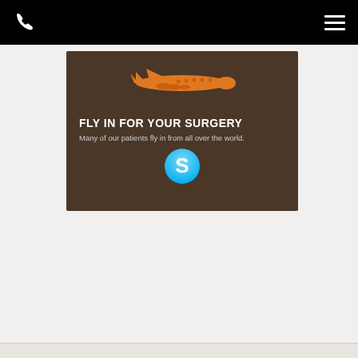[Figure (infographic): Medical tourism advertisement banner on dark brown background featuring an orange airplane silhouette, text 'FLY IN FOR YOUR SURGERY - Many of our patients fly in from all over the world.' with a Skype logo icon below.]